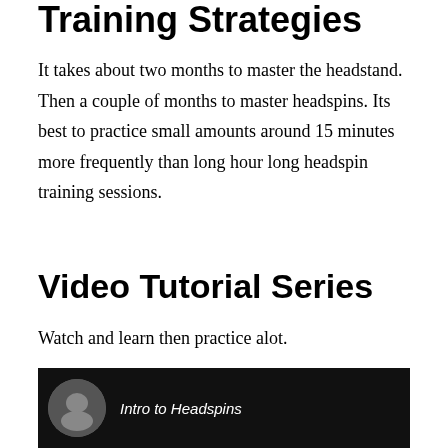Training Strategies
It takes about two months to master the headstand. Then a couple of months to master headspins. Its best to practice small amounts around 15 minutes more frequently than long hour long headspin training sessions.
Video Tutorial Series
Watch and learn then practice alot.
[Figure (screenshot): Video thumbnail showing a circular avatar icon and the beginning of a video title 'Intro to Headspins' on a dark background]